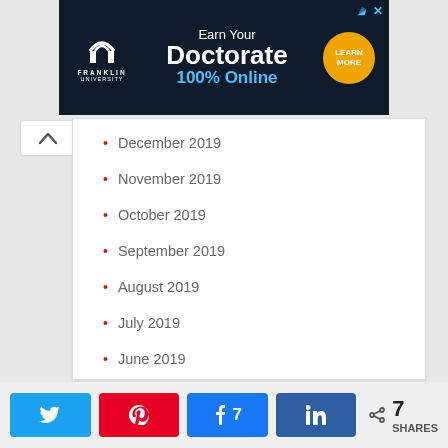[Figure (other): Franklin University advertisement banner: Earn Your Doctorate 100% Online, with Learn More button]
December 2019
November 2019
October 2019
September 2019
August 2019
July 2019
June 2019
May 2019
[Figure (other): Social share bar with Twitter, Pinterest, Facebook (7), LinkedIn buttons and 7 SHARES count]